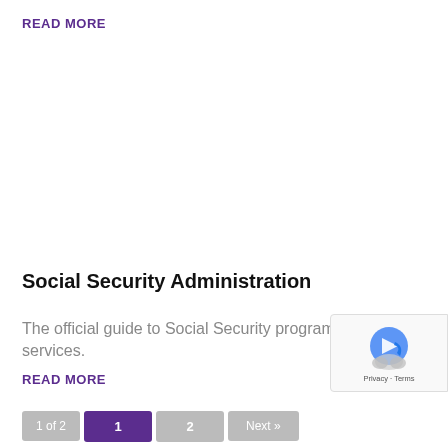READ MORE
Social Security Administration
The official guide to Social Security programs and services.
READ MORE
1 of 2  1  2  Next »